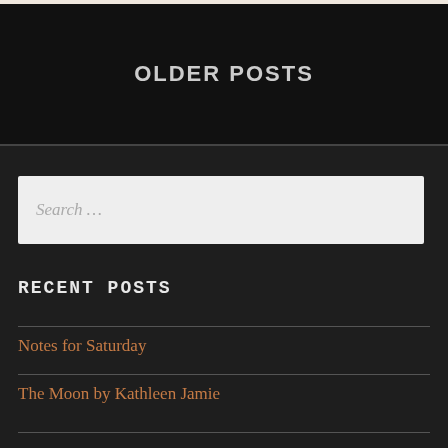OLDER POSTS
Search …
RECENT POSTS
Notes for Saturday
The Moon by Kathleen Jamie